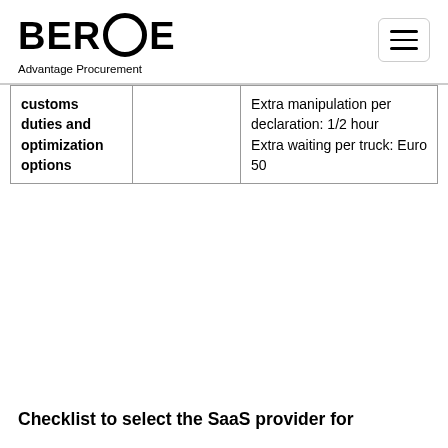BEROE Advantage Procurement
| customs duties and optimization options |  | Extra manipulation per declaration: 1/2 hour
Extra waiting per truck: Euro 50 |
Checklist to select the SaaS provider for